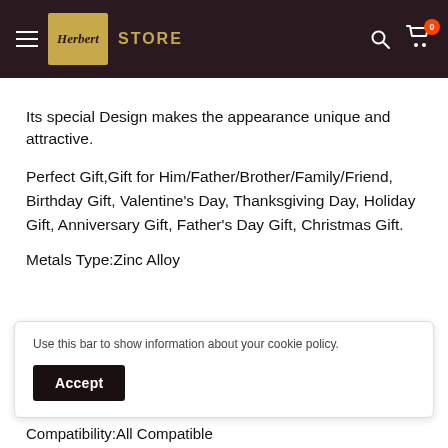[Figure (screenshot): E-commerce store website header with dark brown/maroon background, hamburger menu icon, Herbert Store logo (gold box with italic script text and gold 'STORE' lettering), search icon, and cart icon with red badge showing 0]
Its special Design makes the appearance unique and attractive.
Perfect Gift,Gift for Him/Father/Brother/Family/Friend, Birthday Gift, Valentine's Day, Thanksgiving Day, Holiday Gift, Anniversary Gift, Father's Day Gift, Christmas Gift.
Metals Type:Zinc Alloy
Use this bar to show information about your cookie policy.
Accept
Compatibility:All Compatible